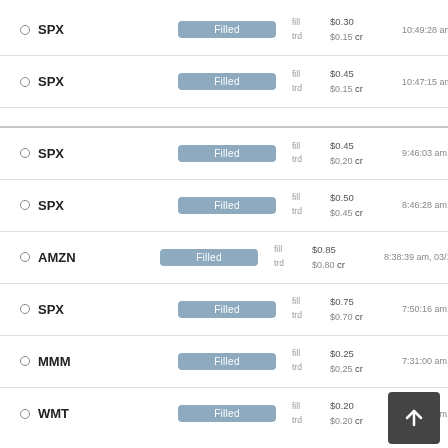SPX | Filled | fill $0.30 | trd $0.15 cr | 10:49:28 am, 03/13
SPX | Filled | fill $0.45 | trd $0.15 cr | 10:47:15 am, 03/13
SPX | Filled | fill $0.45 | trd $0.20 cr | 9:46:03 am, 03/13
SPX | Filled | fill $0.50 | trd $0.45 cr | 8:46:28 am, 03/13
AMZN | Filled | fill $0.85 | trd $0.80 cr | 8:38:39 am, 03/13
SPX | Filled | fill $0.75 | trd $0.70 cr | 7:50:16 am, 03/13
MMM | Filled | fill $0.25 | trd $0.25 cr | 7:31:00 am, 03/13
WMT | Filled | fill $0.20 | trd $0.20 cr | 7:30:19 am, 03/13